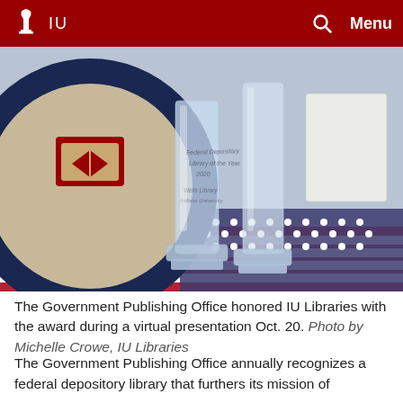IU  Menu
[Figure (photo): Close-up photo of crystal glass award trophies on an American flag background, with an IU Libraries circular logo/sign visible on the left. The award appears to be a Federal Depository Library of the Year 2020 plaque for Wells Library, Indiana University.]
The Government Publishing Office honored IU Libraries with the award during a virtual presentation Oct. 20. Photo by Michelle Crowe, IU Libraries
The Government Publishing Office annually recognizes a federal depository library that furthers its mission of